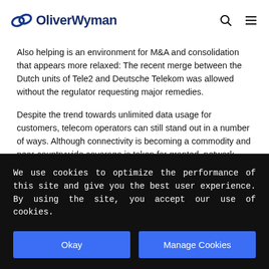OliverWyman
Also helping is an environment for M&A and consolidation that appears more relaxed: The recent merge between the Dutch units of Tele2 and Deutsche Telekom was allowed without the regulator requesting major remedies.
Despite the trend towards unlimited data usage for customers, telecom operators can still stand out in a number of ways. Although connectivity is becoming a commodity and near-countrywide coverage is taken for granted, network quality – both the experience and the
We use cookies to optimize the performance of this site and give you the best user experience. By using the site, you accept our use of cookies.